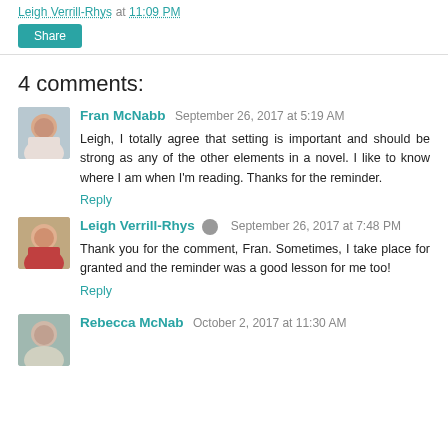Leigh Verrill-Rhys at 11:09 PM
Share
4 comments:
Fran McNabb  September 26, 2017 at 5:19 AM
Leigh, I totally agree that setting is important and should be strong as any of the other elements in a novel. I like to know where I am when I'm reading. Thanks for the reminder.
Reply
Leigh Verrill-Rhys  September 26, 2017 at 7:48 PM
Thank you for the comment, Fran. Sometimes, I take place for granted and the reminder was a good lesson for me too!
Reply
Rebecca McNab  October 2, 2017 at 11:30 AM